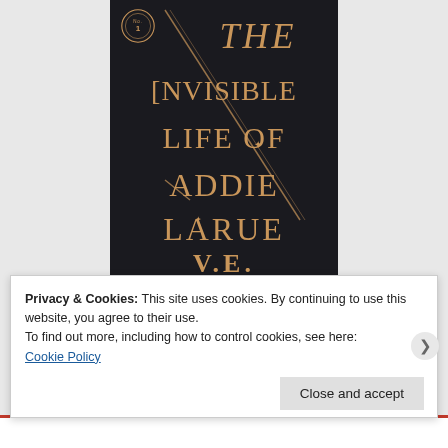[Figure (illustration): Book cover of 'The Invisible Life of Addie LaRue' by V.E. Schwab. Dark/black background with gold/copper serif lettering. Decorative diagonal lines cross through the title text. A circular badge in top-left reads 'No. 1'. Title text stacked: 'THE', 'INVISIBLE', 'LIFE OF', 'ADDIE', 'LARUE', then author 'V.E. SCHWAB' at bottom.]
Privacy & Cookies: This site uses cookies. By continuing to use this website, you agree to their use.
To find out more, including how to control cookies, see here:
Cookie Policy
Close and accept